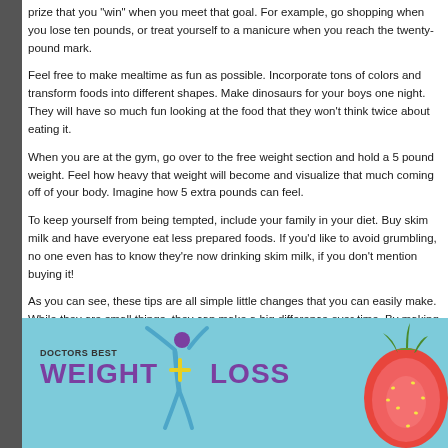prize that you "win" when you meet that goal. For example, go shopping when you lose ten pounds, or treat yourself to a manicure when you reach the twenty-pound mark.
Feel free to make mealtime as fun as possible. Incorporate tons of colors and transform foods into different shapes. Make dinosaurs for your boys one night. They will have so much fun looking at the food that they won't think twice about eating it.
When you are at the gym, go over to the free weight section and hold a 5 pound weight. Feel how heavy that weight will become and visualize that much coming off of your body. Imagine how 5 extra pounds can feel.
To keep yourself from being tempted, include your family in your diet. Buy skim milk and have everyone eat less prepared foods. If you'd like to avoid grumbling, no one even has to know they're now drinking skim milk, if you don't mention buying it!
As you can see, these tips are all simple little changes that you can easily make. While they are small things, they can make a big difference over time. By making a commitment to them today, gradually you will see your weight decrease and your energy increase.
[Figure (logo): Doctors Best Weight Loss logo with stylized human figure and strawberry image on light blue background]